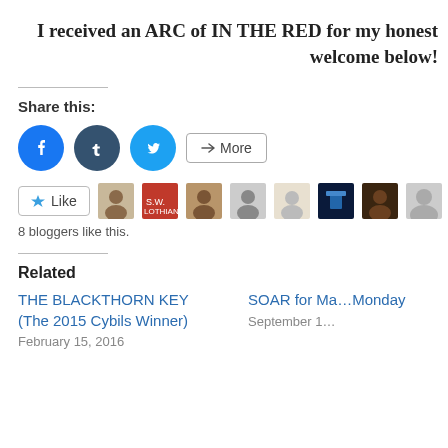I received an ARC of IN THE RED for my honest review. Links welcome below!
Share this:
[Figure (infographic): Social share buttons: Facebook (blue circle), Tumblr (dark blue circle), Twitter (light blue circle), and a More button with share icon]
[Figure (infographic): Like button with star icon and 8 blogger avatar thumbnails]
8 bloggers like this.
Related
THE BLACKTHORN KEY (The 2015 Cybils Winner)
February 15, 2016
SOAR for Ma…Monday
September 1…